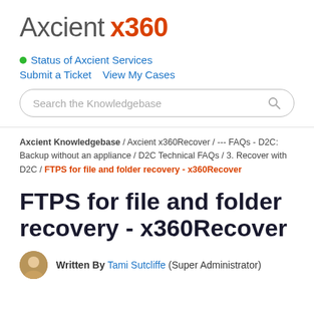[Figure (logo): Axcient x360 logo with 'Axcient' in gray and 'x360' in orange-red bold]
Status of Axcient Services
Submit a Ticket   View My Cases
[Figure (other): Search the Knowledgebase search box with magnifying glass icon]
Axcient Knowledgebase / Axcient x360Recover / --- FAQs - D2C: Backup without an appliance / D2C Technical FAQs / 3. Recover with D2C / FTPS for file and folder recovery - x360Recover
FTPS for file and folder recovery - x360Recover
Written By Tami Sutcliffe (Super Administrator)